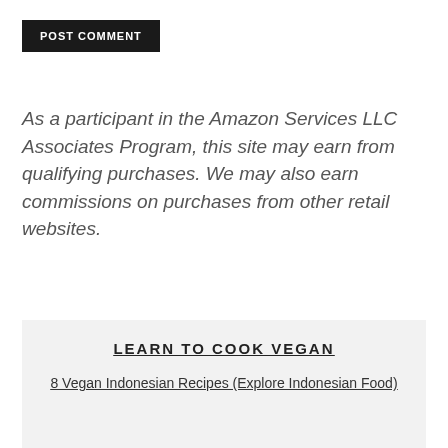POST COMMENT
As a participant in the Amazon Services LLC Associates Program, this site may earn from qualifying purchases. We may also earn commissions on purchases from other retail websites.
LEARN TO COOK VEGAN
8 Vegan Indonesian Recipes (Explore Indonesian Food)